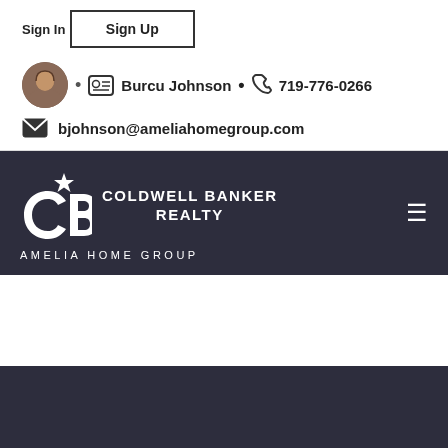Sign In
Sign Up
Burcu Johnson • 719-776-0266
bjohnson@ameliahomegroup.com
[Figure (logo): Coldwell Banker Realty logo with CB monogram and star, white on dark navy background, with AMELIA HOME GROUP text below]
[Figure (photo): Dark navy/charcoal rectangular panel at the bottom of the page]